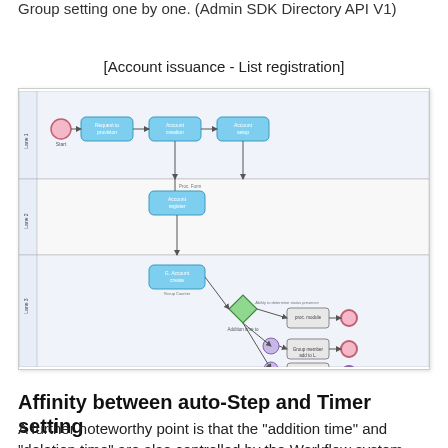Group setting one by one. (Admin SDK Directory API V1)
[Account issuance - List registration]
[Figure (flowchart): BPMN flowchart showing account issuance and list registration process with swim lanes, tasks (blue rounded rectangles), gateways (green diamond), start/end events (circles), and connecting arrows across three swim lane rows.]
Affinity between auto-Step and Timer setting
A further noteworthy point is that the "addition time" and "deletion time" are also controlled by the Workflow system.
Suppose if Mr. Ichiro, for example, is transferring from "Sales department" to "Customer service department". Accordingly,